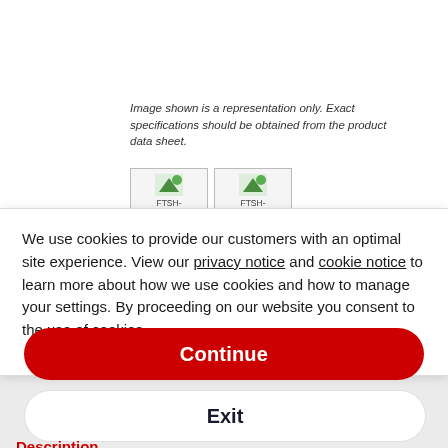Image shown is a representation only. Exact specifications should be obtained from the product data sheet.
[Figure (screenshot): Two thumbnail images: FTSH-105-01-F-DV-K and FTSH-105-0x-x-DV-K-(P)]
We use cookies to provide our customers with an optimal site experience. View our privacy notice and cookie notice to learn more about how we use cookies and how to manage your settings. By proceeding on our website you consent to the use of cookies.
Continue
Exit
Privacy Notice
Description